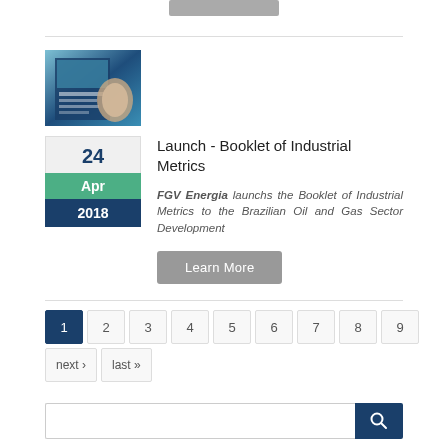[Figure (illustration): Book cover image for Booklet of Industrial Metrics for the Brazilian Oil and Gas Sector]
Launch - Booklet of Industrial Metrics
FGV Energia launchs the Booklet of Industrial Metrics to the Brazilian Oil and Gas Sector Development
Learn More
1
2
3
4
5
6
7
8
9
next ›
last »